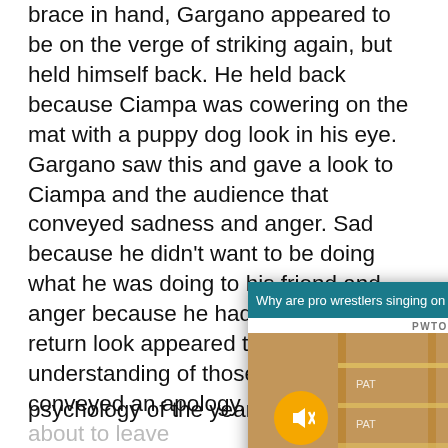brace in hand, Gargano appeared to be on the verge of striking again, but held himself back. He held back because Ciampa was cowering on the mat with a puppy dog look in his eye. Gargano saw this and gave a look to Ciampa and the audience that conveyed sadness and anger. Sad because he didn't want to be doing what he was doing to his friend and anger because he had to. Ciampa's return look appeared to be understanding of those emotions and conveyed an apology. As Gargano about to leave his former friend to fin... again to try and pin Ga... countered the turn and... seconds of this match, b... psychology of the year-...
[Figure (screenshot): Video popup overlay titled 'Why are pro wrestlers singing on the w...' with PWTORCH branding, showing a man in a black cap against a wrestling ring background, with a muted audio button (yellow circle with mute icon) and a close button]
story was about their in... behind... found that in... saw their friendship flash before his eyes as he looked down
[Figure (screenshot): Disney Bundle advertisement banner: hulu | Disney+ | ESPN+ GET THE DISNEY BUNDLE. Incl. Hulu (ad-supported or Hulu (No Ads). Access content from each service separately. ©2021 Disney and its related entities]